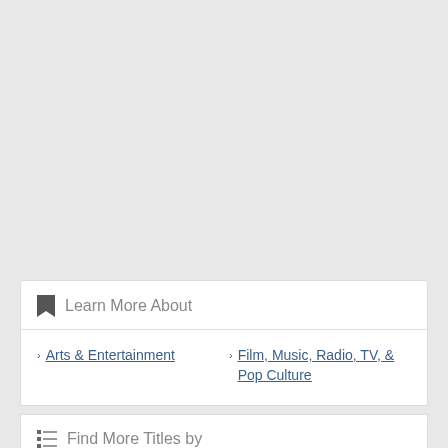Learn More About
Arts & Entertainment
Film, Music, Radio, TV, & Pop Culture
Find More Titles by